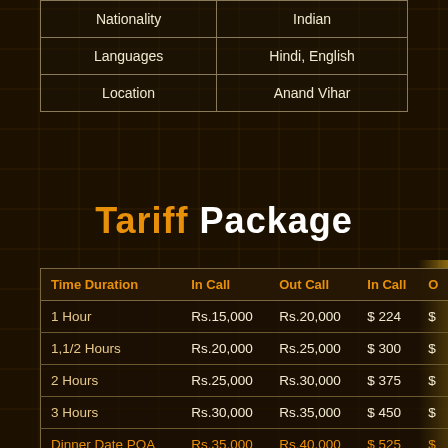|  |  |
| --- | --- |
| Nationality | Indian |
| Languages | Hindi, English |
| Location | Anand Vihar |
Tariff Package
| Time Duration | In Call | Out Call | In Call | O |
| --- | --- | --- | --- | --- |
| 1 Hour | Rs.15,000 | Rs.20,000 | $ 224 | $ |
| 1,1/2 Hours | Rs.20,000 | Rs.25,000 | $ 300 | $ |
| 2 Hours | Rs.25,000 | Rs.30,000 | $ 375 | $ |
| 3 Hours | Rs.30,000 | Rs.35,000 | $ 450 | $ |
| Dinner Date POA | Rs.35,000 | Rs.40,000 | $ 525 | $ |